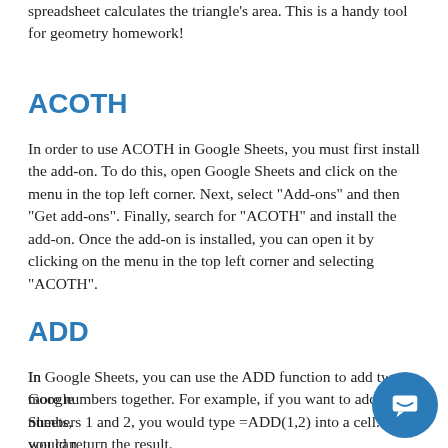spreadsheet calculates the triangle's area. This is a handy tool for geometry homework!
ACOTH
In order to use ACOTH in Google Sheets, you must first install the add-on. To do this, open Google Sheets and click on the menu in the top left corner. Next, select "Add-ons" and then "Get add-ons". Finally, search for "ACOTH" and install the add-on. Once the add-on is installed, you can open it by clicking on the menu in the top left corner and selecting "ACOTH".
ADD
In Google Sheets, you can use the ADD function to add two or more numbers together. For example, if you want to add the numbers 1 and 2, you would type =ADD(1,2) into a cell. This would return the result…